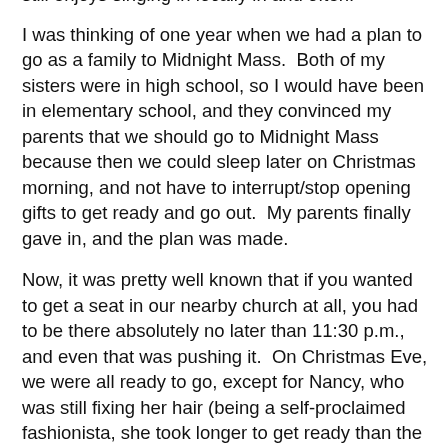still enjoys singing in locally in and often.
I was thinking of one year when we had a plan to go as a family to Midnight Mass.  Both of my sisters were in high school, so I would have been in elementary school, and they convinced my parents that we should go to Midnight Mass because then we could sleep later on Christmas morning, and not have to interrupt/stop opening gifts to get ready and go out.  My parents finally gave in, and the plan was made.
Now, it was pretty well known that if you wanted to get a seat in our nearby church at all, you had to be there absolutely no later than 11:30 p.m., and even that was pushing it.  On Christmas Eve, we were all ready to go, except for Nancy, who was still fixing her hair (being a self-proclaimed fashionista, she took longer to get ready than the rest of us combined).  She finally sashayed down the steps about 11:40, and suffice it to say that my dad was already annoyed.
Unsurprisingly, we arrived and there was pretty much standing room only.  My middle sister saw a friend of hers, who let her squeeze into the pew, and a couple of young kids